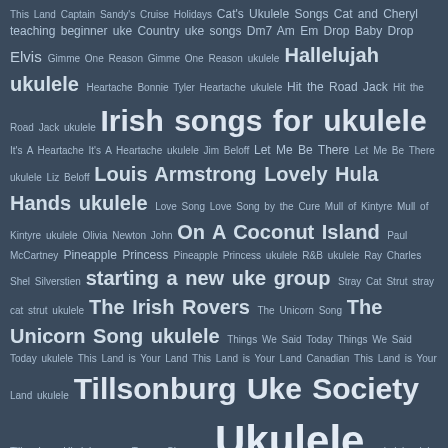[Figure (infographic): Tag cloud on dark blue-grey background featuring ukulele-related search terms and song titles in varying font sizes indicating relative frequency/popularity. Terms include: This Land, Captain Sandy's Cruise Holidays, Cat's Ukulele Songs, Cat and Cheryl teaching beginner uke, Country uke songs, Dm7 Am Em Drop Baby Drop, Elvis, Gimme One Reason, Gimme One Reason ukulele, Hallelujah ukulele, Heartache Bonnie Tyler, Heartache ukulele, Hit the Road Jack, Hit the Road Jack ukulele, Irish songs for ukulele, It's A Heartache, It's A Heartache ukulele, Jim Beloff, Let Me Be There, Let Me Be There ukulele, Liz Beloff, Louis Armstrong, Lovely Hula Hands ukulele, Love Song, Love Song by the Cure, Mull of Kintyre, Mull of Kintyre ukulele, Olivia Newton John, On A Coconut Island, Paul McCartney, Pineapple Princess, Pineapple Princess ukulele, R&B ukulele, Ray Charles, Shel Silverstien, starting a new uke group, Stray Cat Strut, stray cat strut ukulele, The Irish Rovers, The Unicorn Song, The Unicorn Song ukulele, Things We Said Today, Things We Said Today ukulele, This Land is Your Land, This Land is Your Land Canadian, This Land is Your Land ukulele, Tillsonburg Uke Society, Tillsonburg Ukulele group, Tracey Chapman, Ukulele, ukulele club songbooks, Ukulele lessons in Tillsonburg, ukulele song books, ukulele songbooks, Ukulele songs]